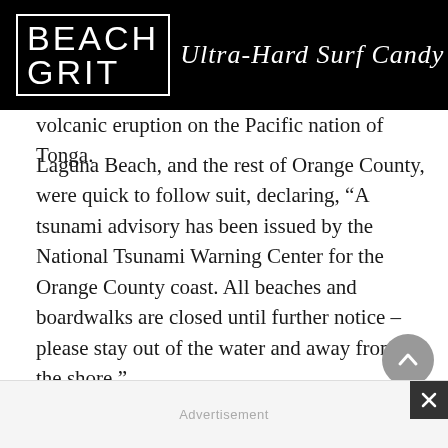BEACH GRIT Ultra-Hard Surf Candy
volcanic eruption on the Pacific nation of Tonga.
Laguna Beach, and the rest of Orange County, were quick to follow suit, declaring, “A tsunami advisory has been issued by the National Tsunami Warning Center for the Orange County coast. All beaches and boardwalks are closed until further notice – please stay out of the water and away from the shore.”
Scary but…
…where’s Ben Gravy?
Advertisement